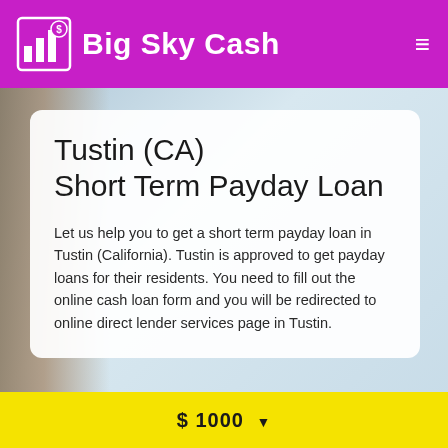Big Sky Cash
Tustin (CA) Short Term Payday Loan
Let us help you to get a short term payday loan in Tustin (California). Tustin is approved to get payday loans for their residents. You need to fill out the online cash loan form and you will be redirected to online direct lender services page in Tustin.
$ 1000